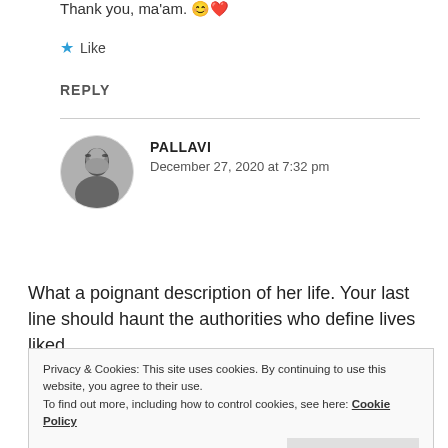Thank you, ma'am. 😊❤️
★ Like
REPLY
PALLAVI
December 27, 2020 at 7:32 pm
[Figure (photo): Circular avatar photo of Pallavi, a black and white photo of a person with sunglasses near water]
What a poignant description of her life. Your last line should haunt the authorities who define lives liked
Privacy & Cookies: This site uses cookies. By continuing to use this website, you agree to their use.
To find out more, including how to control cookies, see here: Cookie Policy
Close and accept